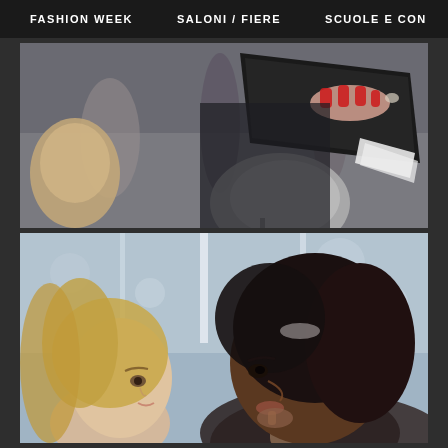FASHION WEEK   SALONI / FIERE   SCUOLE E CON >
[Figure (photo): Close-up photo of a person holding a dark notebook/portfolio with red-painted nails, a grey bag visible below, blurred street background]
[Figure (photo): Photo of two women at what appears to be a fashion fair or event; a blonde woman on the left and a dark-haired woman on the right in profile, blurred indoor background]